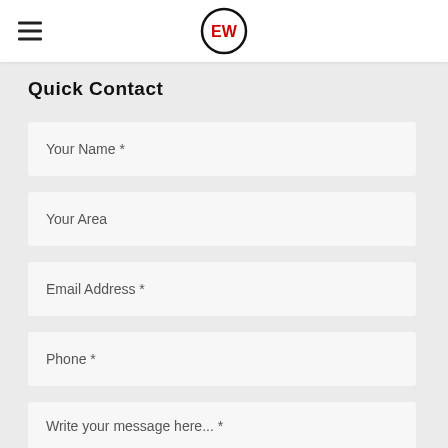EW logo and hamburger menu navigation
Quick Contact
Your Name *
Your Area
Email Address *
Phone *
Write your message here... *